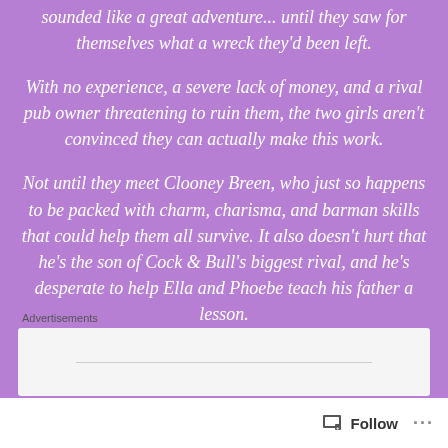sounded like a great adventure... until they saw for themselves what a wreck they'd been left.
With no experience, a severe lack of money, and a rival pub owner threatening to ruin them, the two girls aren't convinced they can actually make this work.
Not until they meet Clooney Breen, who just so happens to be packed with charm, charisma, and barman skills that could help them all survive. It also doesn't hurt that he's the son of Cock & Bull's biggest rival, and he's desperate to help Ella and Phoebe teach his father a lesson.
Advertisements
Follow